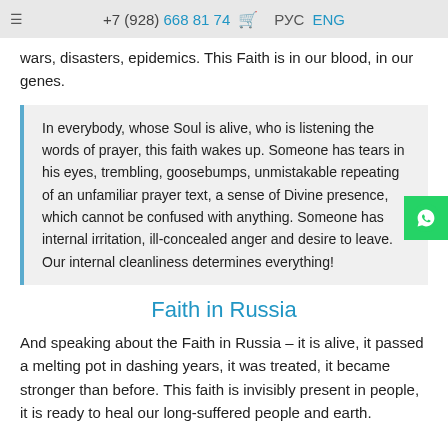+7 (928) 668 81 74  РУС  ENG
wars, disasters, epidemics. This Faith is in our blood, in our genes.
In everybody, whose Soul is alive, who is listening the words of prayer, this faith wakes up. Someone has tears in his eyes, trembling, goosebumps, unmistakable repeating of an unfamiliar prayer text, a sense of Divine presence, which cannot be confused with anything. Someone has internal irritation, ill-concealed anger and desire to leave. Our internal cleanliness determines everything!
Faith in Russia
And speaking about the Faith in Russia – it is alive, it passed a melting pot in dashing years, it was treated, it became stronger than before. This faith is invisibly present in people, it is ready to heal our long-suffered people and earth.